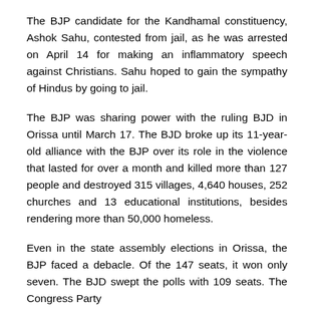The BJP candidate for the Kandhamal constituency, Ashok Sahu, contested from jail, as he was arrested on April 14 for making an inflammatory speech against Christians. Sahu hoped to gain the sympathy of Hindus by going to jail.
The BJP was sharing power with the ruling BJD in Orissa until March 17. The BJD broke up its 11-year-old alliance with the BJP over its role in the violence that lasted for over a month and killed more than 127 people and destroyed 315 villages, 4,640 houses, 252 churches and 13 educational institutions, besides rendering more than 50,000 homeless.
Even in the state assembly elections in Orissa, the BJP faced a debacle. Of the 147 seats, it won only seven. The BJD swept the polls with 109 seats. The Congress Party